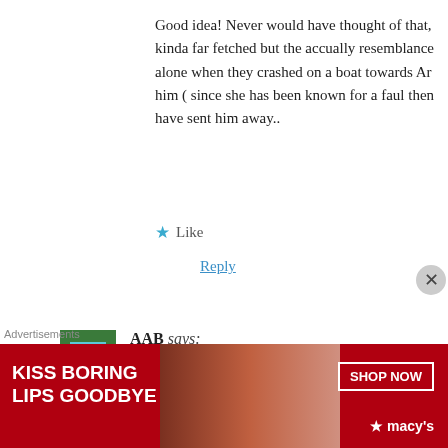Good idea! Never would have thought of that, kinda far fetched but the accually resemblance alone when they crashed on a boat towards Ar... him ( since she has been known for a faul the... have sent him away..
★ Like
Reply
AAB says:
7th July, 2015 at 9:57 pm
ARIEL AND ERICS SON!!! It could also be t... makes since, I mean, they are close, and if Ari... there daughter could be kristoffs mom. Any id...
Advertisements
[Figure (other): Advertisement banner: KISS BORING LIPS GOODBYE - SHOP NOW - macys]